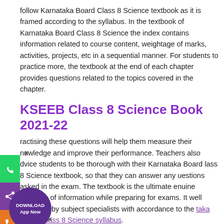follow Karnataka Board Class 8 Science textbook as it is framed according to the syllabus. In the textbook of Karnataka Board Class 8 Science the index contains information related to course content, weightage of marks, activities, projects, etc in a sequential manner. For students to practice more, the textbook at the end of each chapter provides questions related to the topics covered in the chapter.
KSEEB Class 8 Science Book 2021-22
ractising these questions will help them measure their nowledge and improve their performance. Teachers also dvice students to be thorough with their Karnataka Board lass 8 Science textbook, so that they can answer any uestions asked in the exam. The textbook is the ultimate enuine resource of information while preparing for exams. It well designed by subject specialists with accordance to the taka Board Class 8 Science syllabus.
ve provided pdf of Karnataka Board Class 8 Science textbook Part 1 and Part 2 in the table below. Students can download these textbooks free of cost and can refer to them